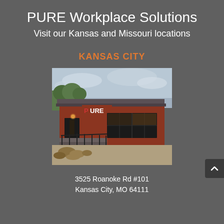PURE Workplace Solutions
Visit our Kansas and Missouri locations
KANSAS CITY
[Figure (photo): Exterior photo of PURE Workplace Solutions building in Kansas City - a red brick commercial building with PURE signage, large windows, metal railing steps, and overcast sky]
3525 Roanoke Rd #101
Kansas City, MO 64111